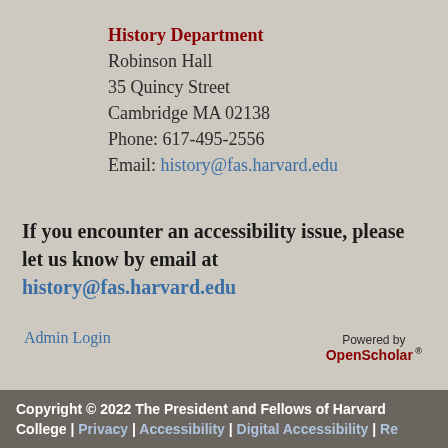History Department
Robinson Hall
35 Quincy Street
Cambridge MA 02138
Phone: 617-495-2556
Email: history@fas.harvard.edu
If you encounter an accessibility issue, please let us know by email at history@fas.harvard.edu
Admin Login
Powered by OpenScholar®
Copyright © 2022 The President and Fellows of Harvard College | Privacy | Accessibility | Digital Accessibility | Re...